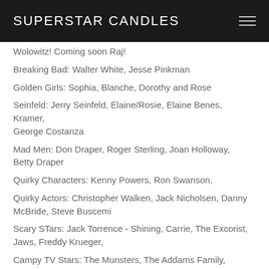SUPERSTAR CANDLES
Wolowitz! Coming soon Raj!
Breaking Bad: Walter White, Jesse Pinkman
Golden Girls: Sophia, Blanche, Dorothy and Rose
Seinfeld: Jerry Seinfeld, Elaine/Rosie, Elaine Benes, Kramer, George Costanza
Mad Men: Don Draper, Roger Sterling, Joan Holloway, Betty Draper
Quirky Characters: Kenny Powers, Ron Swanson,
Quirky Actors: Christopher Walken, Jack Nicholsen, Danny McBride, Steve Buscemi
Scary STars: Jack Torrence - Shining, Carrie, The Excorist, Jaws, Freddy Krueger,
Campy TV Stars: The Munsters, The Addams Family,